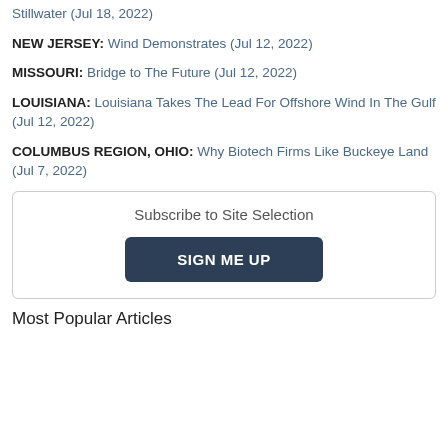Stillwater (Jul 18, 2022)
NEW JERSEY: Wind Demonstrates (Jul 12, 2022)
MISSOURI: Bridge to The Future (Jul 12, 2022)
LOUISIANA: Louisiana Takes The Lead For Offshore Wind In The Gulf (Jul 12, 2022)
COLUMBUS REGION, OHIO: Why Biotech Firms Like Buckeye Land (Jul 7, 2022)
Subscribe to Site Selection
SIGN ME UP
Most Popular Articles